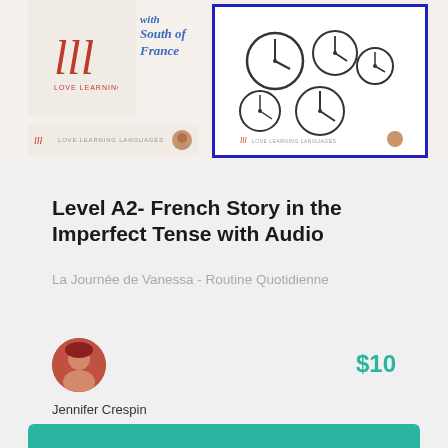[Figure (illustration): Top banner showing two product thumbnail cards: left card with Love Learning Languages logo and cursive text 'South of France', right card with clocks illustration and blue border.]
Level A2- French Story in the Imperfect Tense with Audio
La Journée de Vanessa - Routine Quotidienne
[Figure (photo): Author avatar photo of Jennifer Crespin]
Jennifer Crespin
$10